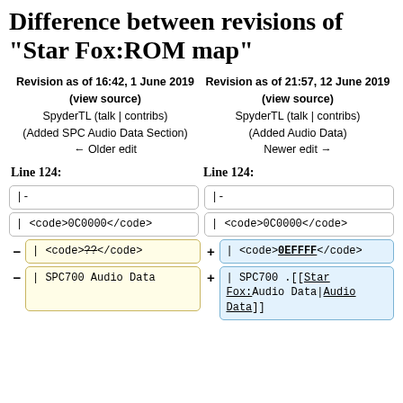Difference between revisions of "Star Fox:ROM map"
Revision as of 16:42, 1 June 2019 (view source)
SpyderTL (talk | contribs)
(Added SPC Audio Data Section)
← Older edit
Revision as of 21:57, 12 June 2019 (view source)
SpyderTL (talk | contribs)
(Added Audio Data)
Newer edit →
Line 124:
Line 124:
|-
|-
| <code>0C0000</code>
| <code>0C0000</code>
| <code>??</code>
| <code>0EFFFF</code>
| SPC700 Audio Data
| SPC700 [[Star Fox:Audio Data|Audio Data]]